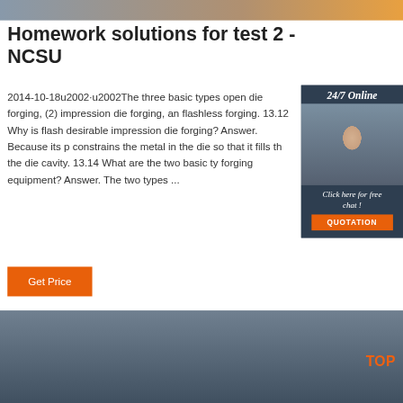[Figure (photo): Top strip image showing industrial/workshop scene]
Homework solutions for test 2 - NCSU
2014-10-18u2002·u2002The three basic types open die forging, (2) impression die forging, an flashless forging. 13.12 Why is flash desirable impression die forging? Answer. Because its p constrains the metal in the die so that it fills the the die cavity. 13.14 What are the two basic ty forging equipment? Answer. The two types ...
[Figure (photo): Sidebar showing a customer service representative with headset, dark blue background, 24/7 Online label, Click here for free chat text, and QUOTATION button]
Get Price
[Figure (photo): Bottom image showing industrial warehouse with large metal box/equipment and blue wrapped pallets, TOP badge visible]